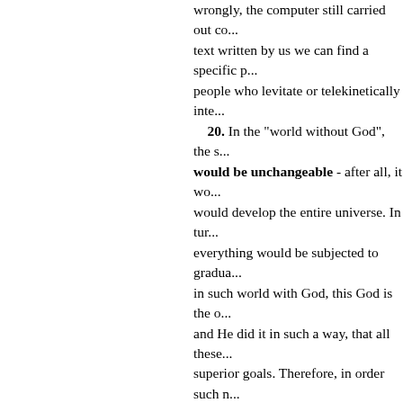wrongly, the computer still carried out co... text written by us we can find a specific p... people who levitate or telekinetically inte... 20. In the "world without God", the s... would be unchangeable - after all, it wo... would develop the entire universe. In tur... everything would be subjected to gradua... in such world with God, this God is the o... and He did it in such a way, that all these... superior goals. Therefore, in order such n... continually both, improve the action of ch... action of completely new laws of nature. ... everything must be subjected to constan... humans.) In addition, there are regions o... other regions of the universe (e.g. consid... summarise the above, in the world with... entire universe govern the same and u... on the Earth), is completely false - an... completely wrong. Therefore, for exampl... amongst trillions of stars, did NOT have t... physical world. After all, then the Earth c... today's Moon. Only thousands of years la... attributes which we see today. Likewise ... did NOT have to happen already in th...